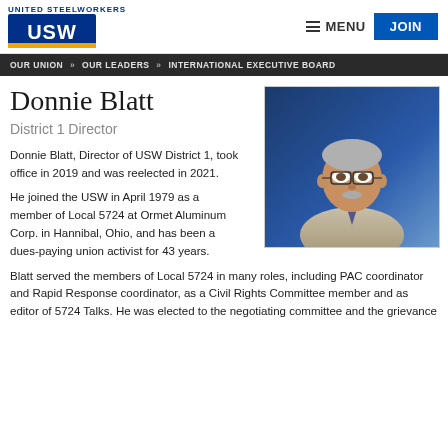UNITED STEELWORKERS | USW | MENU | JOIN
OUR UNION » OUR LEADERS » INTERNATIONAL EXECUTIVE BOARD
Donnie Blatt
District 1 Director
[Figure (photo): Headshot of Donnie Blatt, a man with gray hair and glasses wearing a gray suit and tie, against a blue background.]
Donnie Blatt, Director of USW District 1, took office in 2019 and was reelected in 2021.
He joined the USW in April 1979 as a member of Local 5724 at Ormet Aluminum Corp. in Hannibal, Ohio, and has been a dues-paying union activist for 43 years.
Blatt served the members of Local 5724 in many roles, including PAC coordinator and Rapid Response coordinator, as a Civil Rights Committee member and as editor of 5724 Talks. He was elected to the negotiating committee and the grievance